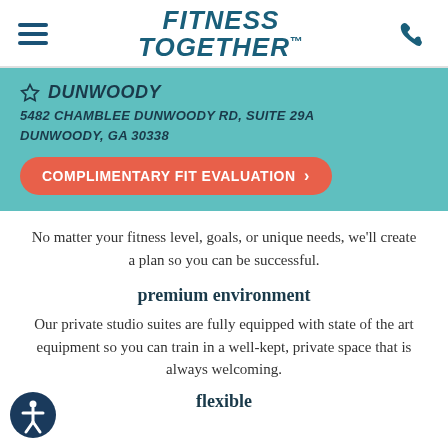FITNESS TOGETHER™
DUNWOODY
5482 CHAMBLEE DUNWOODY RD, SUITE 29A
DUNWOODY, GA 30338
COMPLIMENTARY FIT EVALUATION >
No matter your fitness level, goals, or unique needs, we'll create a plan so you can be successful.
premium environment
Our private studio suites are fully equipped with state of the art equipment so you can train in a well-kept, private space that is always welcoming.
flexible